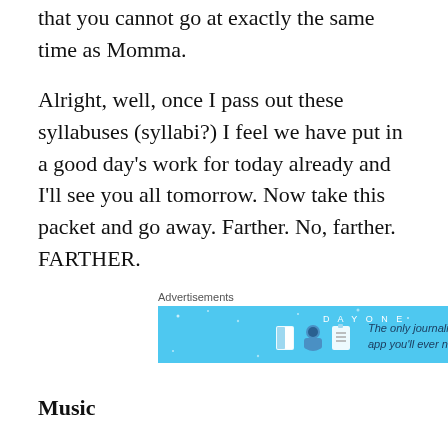that you cannot go at exactly the same time as Momma.
Alright, well, once I pass out these syllabuses (syllabi?) I feel we have put in a good day’s work for today already and I’ll see you all tomorrow. Now take this packet and go away. Farther. No, farther. FARTHER.
[Figure (other): Advertisement for Day One journaling app. Blue background with icons of a book, person, and document. Text reads: DAY ONE - The only journaling app you'll ever need.]
Music
Introduction to the Quiet Game
This semester we will explore why silence is sometimes just as important as musical instruments.
Art